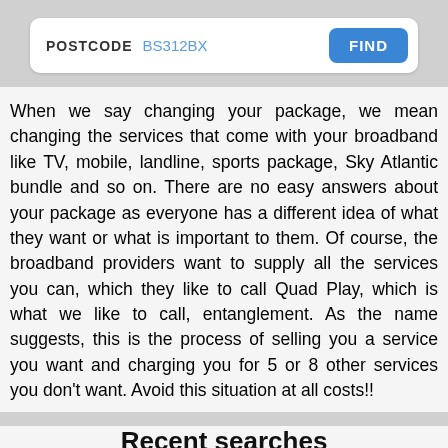[Figure (screenshot): Search bar with POSTCODE label, BS312BX value in blue, and a blue FIND button]
When we say changing your package, we mean changing the services that come with your broadband like TV, mobile, landline, sports package, Sky Atlantic bundle and so on. There are no easy answers about your package as everyone has a different idea of what they want or what is important to them. Of course, the broadband providers want to supply all the services you can, which they like to call Quad Play, which is what we like to call, entanglement. As the name suggests, this is the process of selling you a service you want and charging you for 5 or 8 other services you don't want. Avoid this situation at all costs!!
Recent searches